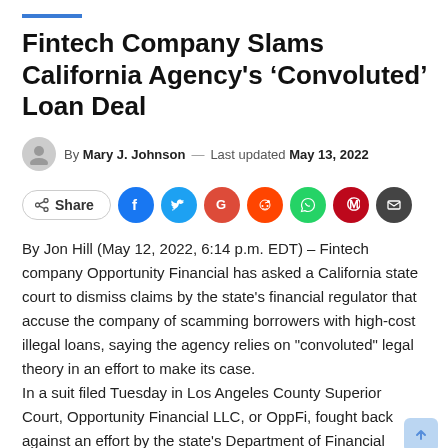Fintech Company Slams California Agency's ‘Convoluted’ Loan Deal
By Mary J. Johnson — Last updated May 13, 2022
[Figure (other): Social share buttons row: Share button, Facebook, Twitter, Google+, Reddit, WhatsApp, Pinterest, Email]
By Jon Hill (May 12, 2022, 6:14 p.m. EDT) – Fintech company Opportunity Financial has asked a California state court to dismiss claims by the state’s financial regulator that accuse the company of scamming borrowers with high-cost illegal loans, saying the agency relies on “convoluted” legal theory in an effort to make its case. In a suit filed Tuesday in Los Angeles County Superior Court, Opportunity Financial LLC, or OppFi, fought back against an effort by the state’s Department of Financial Protection and Innovation to hold the fintech company accountable for